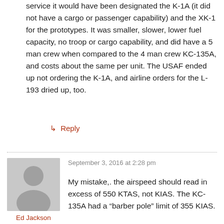service it would have been designated the K-1A (it did not have a cargo or passenger capability) and the XK-1 for the prototypes. It was smaller, slower, lower fuel capacity, no troop or cargo capability, and did have a 5 man crew when compared to the 4 man crew KC-135A, and costs about the same per unit. The USAF ended up not ordering the K-1A, and airline orders for the L-193 dried up, too.
↳ Reply
September 3, 2016 at 2:28 pm
[Figure (illustration): Gray avatar silhouette of a person (head and shoulders)]
Ed Jackson
My mistake,. the airspeed should read in excess of 550 KTAS, not KIAS. The KC-135A had a "barber pole" limit of 355 KIAS.